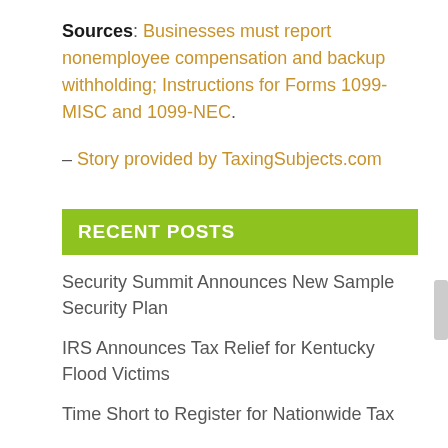Sources: Businesses must report nonemployee compensation and backup withholding; Instructions for Forms 1099-MISC and 1099-NEC.
– Story provided by TaxingSubjects.com
RECENT POSTS
Security Summit Announces New Sample Security Plan
IRS Announces Tax Relief for Kentucky Flood Victims
Time Short to Register for Nationwide Tax